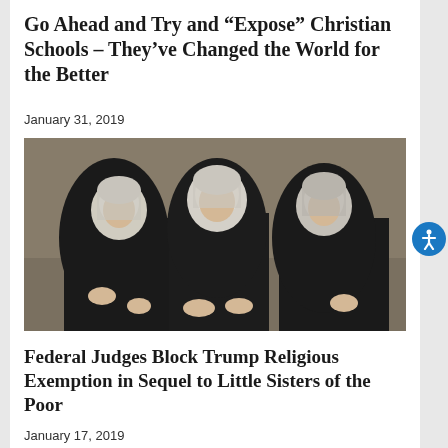Go Ahead and Try and “Expose” Christian Schools – They’ve Changed the World for the Better
January 31, 2019
[Figure (photo): Three elderly nuns wearing black habits and grey/white wimples seated together, appearing to converse, in front of a brick wall background.]
Federal Judges Block Trump Religious Exemption in Sequel to Little Sisters of the Poor
January 17, 2019